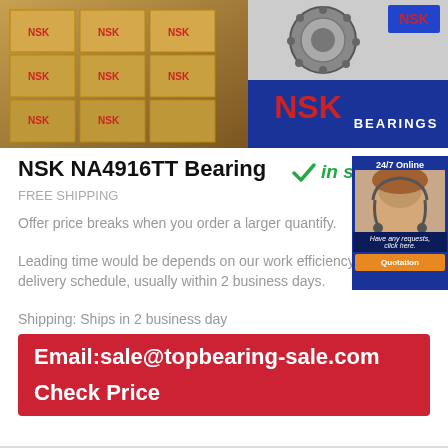[Figure (photo): NSK branded warehouse with stacked boxes]
[Figure (photo): NSK bearing product and NSK Bearings logo on blue background]
NSK NA4916TT Bearing
✓ in stock
FREE SHIPPING
Offer price breaks when you order a larger quantify.
Leading time would be depends on our work efficiency and delivery schedule, usually within 2 business days.
Shipping: Ships in 2 business day
Email:sale@topbearing-sale.com
Check Price
[Figure (other): 24/7 Online customer support widget with agent photo, Have any requests click here, and Quotation button]